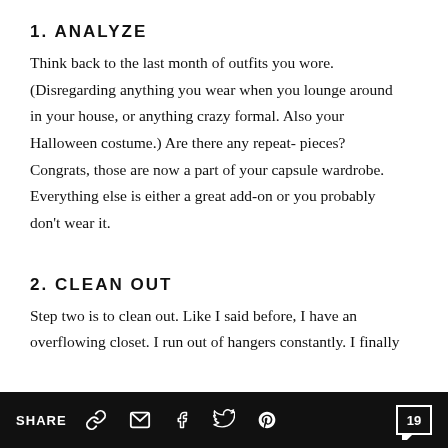1. ANALYZE
Think back to the last month of outfits you wore. (Disregarding anything you wear when you lounge around in your house, or anything crazy formal. Also your Halloween costume.) Are there any repeat- pieces? Congrats, those are now a part of your capsule wardrobe. Everything else is either a great add-on or you probably don't wear it.
2. CLEAN OUT
Step two is to clean out. Like I said before, I have an overflowing closet. I run out of hangers constantly. I finally
SHARE  [link] [mail] [facebook] [twitter] [pinterest]  19